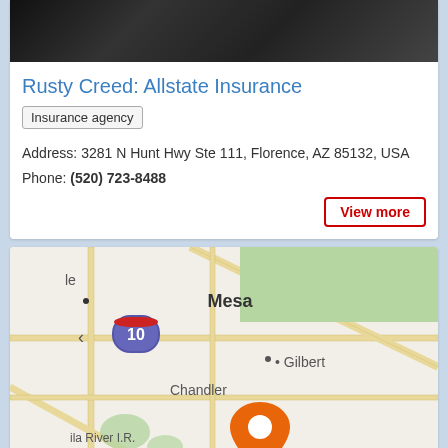[Figure (photo): Portrait photo of Rusty Creed in dark suit, cropped showing upper body]
Rusty Creed: Allstate Insurance
Insurance agency
Address: 3281 N Hunt Hwy Ste 111, Florence, AZ 85132, USA
Phone: (520) 723-8488
View more
[Figure (map): Google map showing location pin in Florence, AZ area with Mesa, Gilbert, Chandler, Gila River I.R., Casa Grande visible. Interstate 10 shown. Orange location pin marker placed at Florence.]